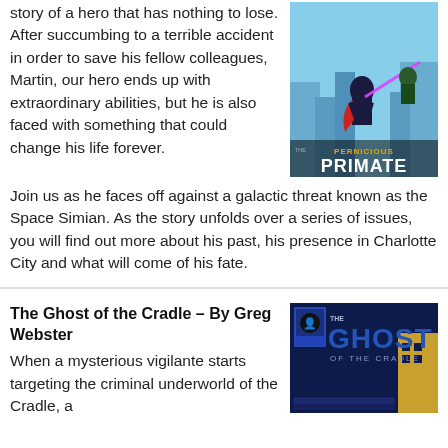story of a hero that has nothing to lose. After succumbing to a terrible accident in order to save his fellow colleagues, Martin, our hero ends up with extraordinary abilities, but he is also faced with something that could change his life forever.
[Figure (illustration): Comic book cover featuring superhero characters flying, titled 'Pernicious Primate']
Join us as he faces off against a galactic threat known as the Space Simian. As the story unfolds over a series of issues, you will find out more about his past, his presence in Charlotte City and what will come of his fate.
The Ghost of the Cradle – By Greg Webster
When a mysterious vigilante starts targeting the criminal underworld of the Cradle, a
[Figure (illustration): Comic book cover for 'The Ghost of the Cradle' featuring a dark blue background with the title in large letters]